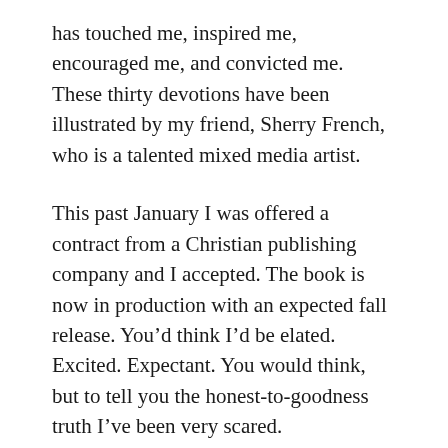has touched me, inspired me, encouraged me, and convicted me. These thirty devotions have been illustrated by my friend, Sherry French, who is a talented mixed media artist.
This past January I was offered a contract from a Christian publishing company and I accepted. The book is now in production with an expected fall release. You’d think I’d be elated. Excited. Expectant. You would think, but to tell you the honest-to-goodness truth I’ve been very scared.
Waves of fear have washed over me. Failure. Faint-hearted. Faithless. Fiery f’s. Flaming darts of the enemy. Doubt. Discouragement.